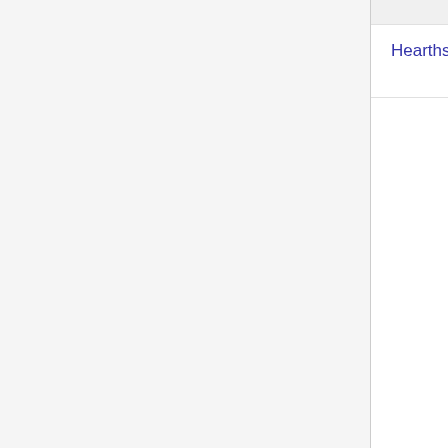| Name | Type |
| --- | --- |
| Hearthstone Base Blueprints | Base Bluepr... |
| Heat Bath Blueprints | Trap Bluepr... |
| Icy RhinoBot Blueprint | Trap Bluepr... |
| Ninja Ambush Blueprint | Trap Bluepr... |